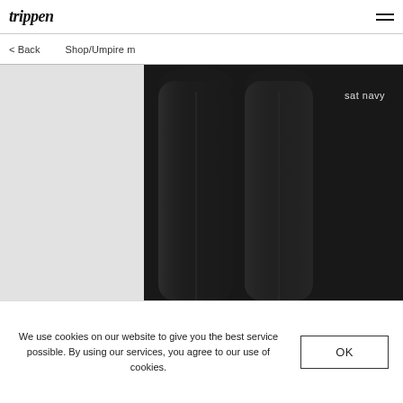trippen
< Back   Shop/Umpire m
[Figure (photo): Product photo showing dark navy/black pants legs on a light gray to dark background split, with text 'sat navy' on the right side]
We use cookies on our website to give you the best service possible. By using our services, you agree to our use of cookies.